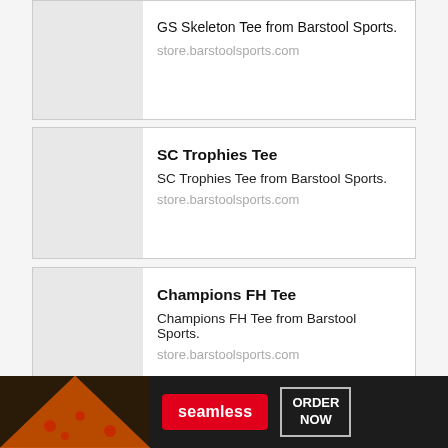GS Skeleton Tee from Barstool Sports.
store.barstoolsports.com
SC Trophies Tee
SC Trophies Tee from Barstool Sports.
store.barstoolsports.com
Champions FH Tee
Champions FH Tee from Barstool Sports.
store.barstoolsports.com
GS 2022 Champions Tee
GS 2022 Champions Tee from Barstool
[Figure (photo): Seamless food delivery advertisement banner with pizza image, red Seamless logo button, and ORDER NOW bordered text]